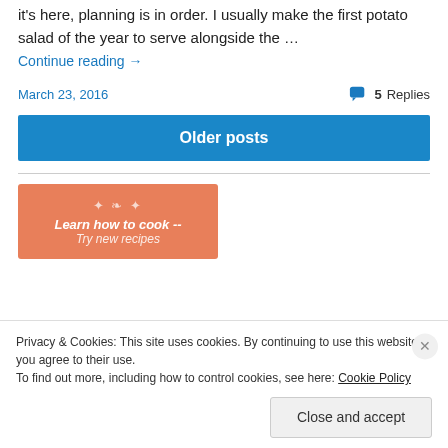it's here, planning is in order. I usually make the first potato salad of the year to serve alongside the …
Continue reading →
March 23, 2016
5 Replies
Older posts
[Figure (illustration): Orange/salmon colored banner ad for a cooking website with decorative fleur motif and text 'Learn how to cook -- Try new recipes']
Privacy & Cookies: This site uses cookies. By continuing to use this website, you agree to their use.
To find out more, including how to control cookies, see here: Cookie Policy
Close and accept